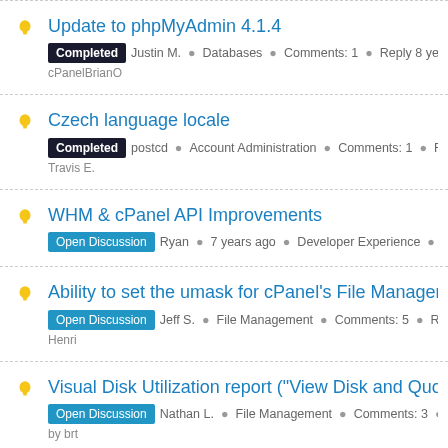Update to phpMyAdmin 4.1.4
Completed • Justin M. • Databases • Comments: 1 • Reply 8 years ago • cPanelBrianO
Czech language locale
Completed • postcd • Account Administration • Comments: 1 • Reply • Travis E.
WHM & cPanel API Improvements
Open Discussion • Ryan • 7 years ago • Developer Experience •
Ability to set the umask for cPanel's File Manager
Open Discussion • Jeff S. • File Management • Comments: 5 • Reply • Henri
Visual Disk Utilization report ("View Disk and Quota Usa...
Open Discussion • Nathan L. • File Management • Comments: 3 • by brt
Slave Zone (Secondaries)